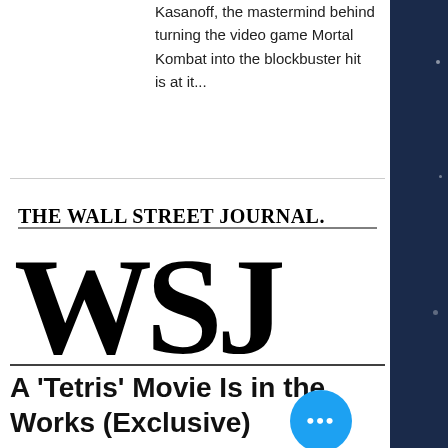Kasanoff, the mastermind behind turning the video game Mortal Kombat into the blockbuster hit is at it...
[Figure (logo): The Wall Street Journal logo with 'THE WALL STREET JOURNAL.' text above large bold 'WSJ' letters]
A 'Tetris' Movie Is in the Works (Exclusive)